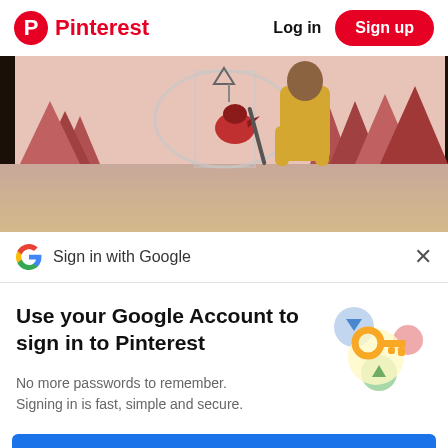Pinterest   Log in   Sign up
[Figure (illustration): Animated scene with a character in yellow outfit and a red bird, with stylized red pine trees and a glass dome in background. Bottom half fades to a pinkish-tan gradient.]
Sign in with Google
Use your Google Account to sign in to Pinterest
[Figure (illustration): Google passkey/key icon illustration with colorful circles and a golden key.]
No more passwords to remember.
Signing in is fast, simple and secure.
Continue